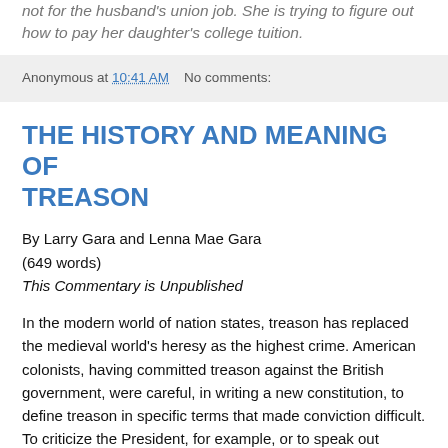not for the husband's union job. She is trying to figure out how to pay her daughter's college tuition.
Anonymous at 10:41 AM   No comments:
THE HISTORY AND MEANING OF TREASON
By Larry Gara and Lenna Mae Gara
(649 words)
This Commentary is Unpublished
In the modern world of nation states, treason has replaced the medieval world's heresy as the highest crime. American colonists, having committed treason against the British government, were careful, in writing a new constitution, to define treason in specific terms that made conviction difficult. To criticize the President, for example, or to speak out against a particular war, is not treason.